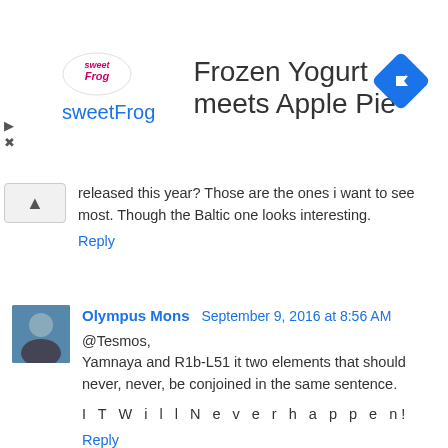[Figure (other): sweetFrog advertisement banner with logo, headline 'Frozen Yogurt meets Apple Pie', subtitle 'sweetFrog', and a blue diamond navigation icon on the right.]
released this year? Those are the ones i want to see most. Though the Baltic one looks interesting.
Reply
Olympus Mons   September 9, 2016 at 8:56 AM
@Tesmos,
Yamnaya and R1b-L51 it two elements that should never, never, be conjoined in the same sentence.

I T W i l l N e v e r h a p p e n!

Reply
Davidski  September 9, 2016 at 9:04 AM
Well, I wasn't just making things up when I said that